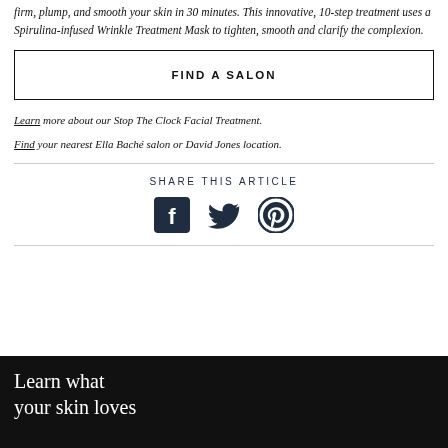firm, plump, and smooth your skin in 30 minutes. This innovative, 10-step treatment uses a Spirulina-infused Wrinkle Treatment Mask to tighten, smooth and clarify the complexion.
FIND A SALON
Learn more about our Stop The Clock Facial Treatment.
Find your nearest Ella Baché salon or David Jones location.
SHARE THIS ARTICLE
[Figure (illustration): Social media share icons: Facebook, Twitter, Pinterest]
Learn what your skin loves